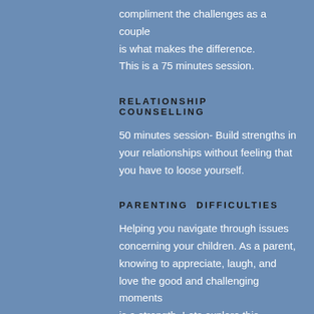compliment the challenges as a couple is what makes the difference. This is a 75 minutes session.
RELATIONSHIP COUNSELLING
50 minutes session- Build strengths in your relationships without feeling that you have to loose yourself.
PARENTING DIFFICULTIES
Helping you navigate through issues concerning your children. As a parent, knowing to appreciate, laugh, and love the good and challenging moments is a strength. Lets explore this together and know that you are not alone. 50